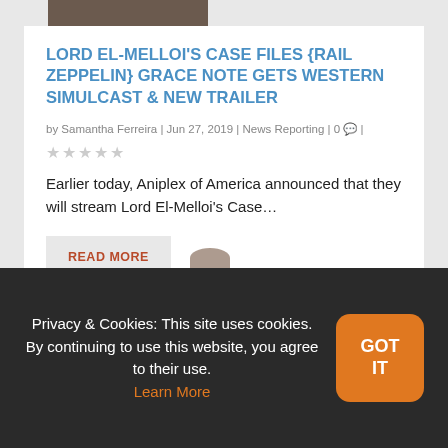[Figure (photo): Partial image at the top of the article card, cropped at top]
LORD EL-MELLOI'S CASE FILES {RAIL ZEPPELIN} GRACE NOTE GETS WESTERN SIMULCAST & NEW TRAILER
by Samantha Ferreira | Jun 27, 2019 | News Reporting | 0 💬 |
★★★★★ (star rating, unrated/empty stars)
Earlier today, Aniplex of America announced that they will stream Lord El-Melloi's Case…
READ MORE
Privacy & Cookies: This site uses cookies. By continuing to use this website, you agree to their use. Learn More
GOT IT